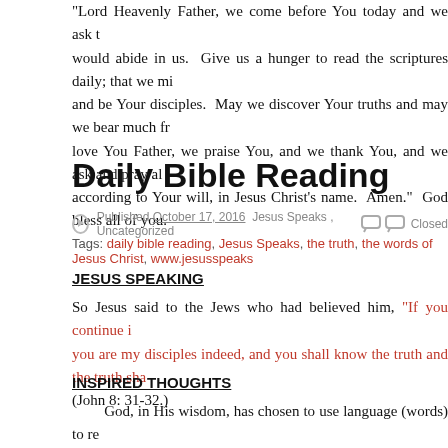“Lord Heavenly Father, we come before You today and we ask that Your Word would abide in us. Give us a hunger to read the scriptures daily; that we might learn and be Your disciples. May we discover Your truths and may we bear much fruit. We love You Father, we praise You, and we thank You, and we ask and pray all of these things according to Your will, in Jesus Christ’s name. Amen.” God bless all of you.
Daily Bible Reading
Published October 17, 2016 Jesus Speaks , Uncategorized Closed
Tags: daily bible reading, Jesus Speaks, the truth, the words of Jesus Christ, www.jesusspeaks…
JESUS SPEAKING
So Jesus said to the Jews who had believed him, “If you continue in my word, you are my disciples indeed, and you shall know the truth and the truth shall make you free.” (John 8: 31-32.)
INSPIRED THOUGHTS
God, in His wisdom, has chosen to use language (words) to reach out to mankind. The written and spoken words of God and of His only Son Jesus are recorded within the pages of The Holy bible. These words have the power…